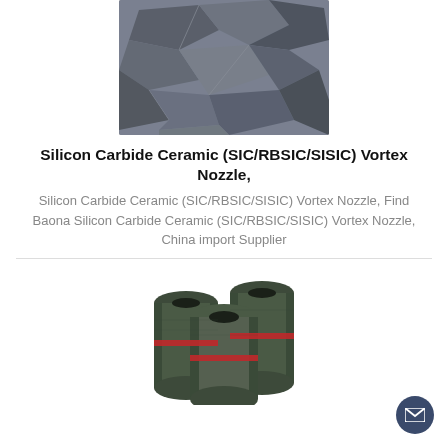[Figure (photo): Photo of dark grey/black silicon carbide rocks/chunks piled together]
Silicon Carbide Ceramic (SIC/RBSIC/SISIC) Vortex Nozzle,
Silicon Carbide Ceramic (SIC/RBSIC/SISIC) Vortex Nozzle, Find Baona Silicon Carbide Ceramic (SIC/RBSIC/SISIC) Vortex Nozzle, China import Supplier
[Figure (photo): Photo of three dark green cylindrical graphite/silicon carbide electrode rods bundled with red bands, showing hollow centers]